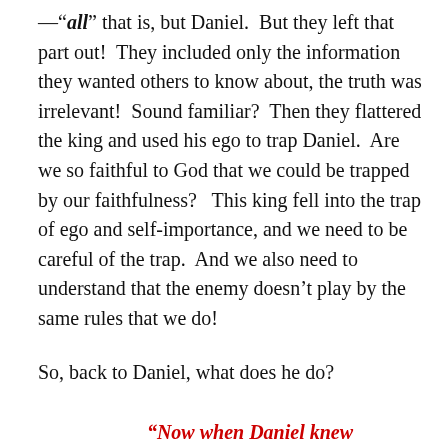—“all” that is, but Daniel.  But they left that part out!  They included only the information they wanted others to know about, the truth was irrelevant!  Sound familiar?  Then they flattered the king and used his ego to trap Daniel.  Are we so faithful to God that we could be trapped by our faithfulness?   This king fell into the trap of ego and self-importance, and we need to be careful of the trap.  And we also need to understand that the enemy doesn’t play by the same rules that we do!
So, back to Daniel, what does he do?
“Now when Daniel knew